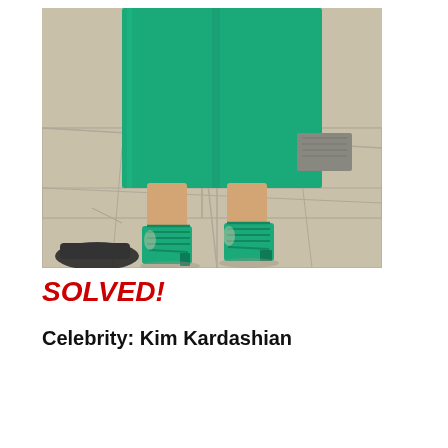[Figure (photo): A street photo showing the lower body of a woman wearing a teal/green knee-length pencil skirt and matching green strappy lace-up heeled sandals, walking on a sidewalk.]
SOLVED!
Celebrity: Kim Kardashian